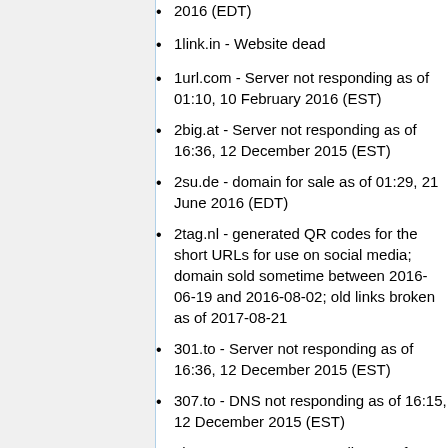2016 (EDT)
1link.in - Website dead
1url.com - Server not responding as of 01:10, 10 February 2016 (EST)
2big.at - Server not responding as of 16:36, 12 December 2015 (EST)
2su.de - domain for sale as of 01:29, 21 June 2016 (EDT)
2tag.nl - generated QR codes for the short URLs for use on social media; domain sold sometime between 2016-06-19 and 2016-08-02; old links broken as of 2017-08-21
301.to - Server not responding as of 16:36, 12 December 2015 (EST)
307.to - DNS not responding as of 16:15, 12 December 2015 (EST)
4ks.net - DNS not responding as of 15:48, 15 May 2016 (EDT)
4ms.me - redirects to twoo.com as of